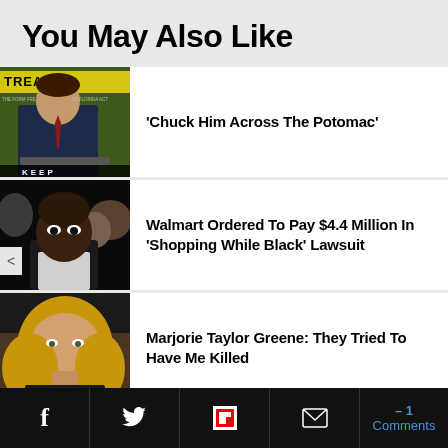You May Also Like
[Figure (photo): Politician at podium with TREAD ON banner in background]
‘Chuck Him Across The Potomac’
[Figure (photo): Black man in foreground with crowd behind]
Walmart Ordered To Pay $4.4 Million In ‘Shopping While Black’ Lawsuit
[Figure (photo): Blonde woman with NEWSMAX logo at bottom left]
Marjorie Taylor Greene: They Tried To Have Me Killed
f      ✉  -1 Comments